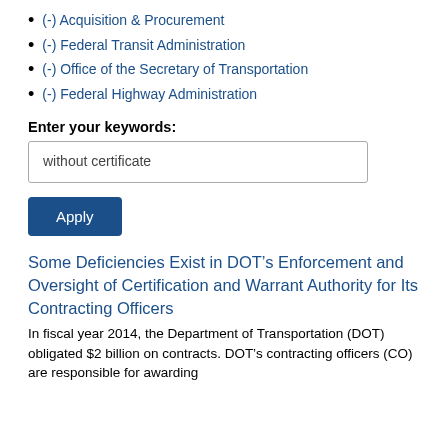(-) Acquisition & Procurement
(-) Federal Transit Administration
(-) Office of the Secretary of Transportation
(-) Federal Highway Administration
Enter your keywords:
without certificate
Apply
Some Deficiencies Exist in DOT’s Enforcement and Oversight of Certification and Warrant Authority for Its Contracting Officers
In fiscal year 2014, the Department of Transportation (DOT) obligated $2 billion on contracts. DOT’s contracting officers (CO) are responsible for awarding and overseeing contracts for a variety of programs.